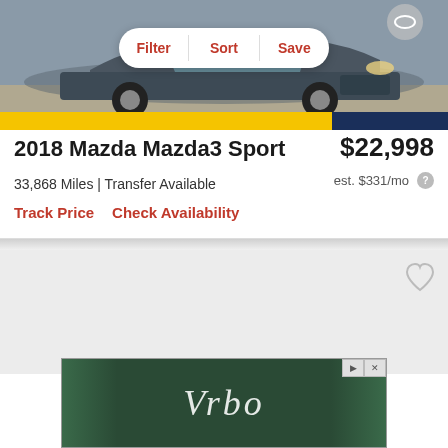[Figure (photo): Gray/silver Mazda Mazda3 Sport front view photographed in a parking lot, with a filter/sort/save pill button overlay]
2018 Mazda Mazda3 Sport
$22,998
33,868 Miles | Transfer Available
est. $331/mo
Track Price
Check Availability
[Figure (other): Second car listing preview area with a heart/save icon in top right corner]
[Figure (other): Vrbo advertisement banner with logo text over green/tropical background]